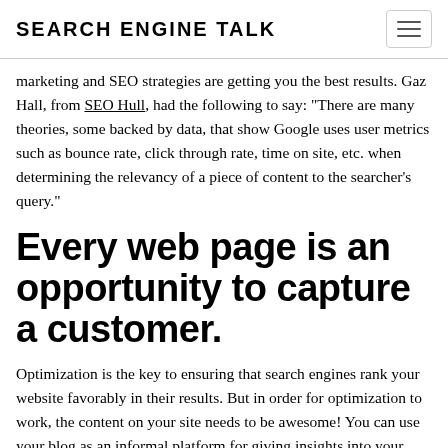SEARCH ENGINE TALK
marketing and SEO strategies are getting you the best results. Gaz Hall, from SEO Hull, had the following to say: "There are many theories, some backed by data, that show Google uses user metrics such as bounce rate, click through rate, time on site, etc. when determining the relevancy of a piece of content to the searcher's query."
Every web page is an opportunity to capture a customer.
Optimization is the key to ensuring that search engines rank your website favorably in their results. But in order for optimization to work, the content on your site needs to be awesome! You can use your blog as an informal platform for giving insights into your thought process as it relates to your business. You can review products, offer personal opinions (be careful, of course, to avoid